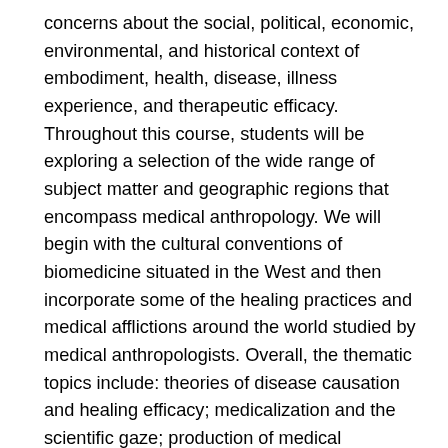concerns about the social, political, economic, environmental, and historical context of embodiment, health, disease, illness experience, and therapeutic efficacy. Throughout this course, students will be exploring a selection of the wide range of subject matter and geographic regions that encompass medical anthropology. We will begin with the cultural conventions of biomedicine situated in the West and then incorporate some of the healing practices and medical afflictions around the world studied by medical anthropologists. Overall, the thematic topics include: theories of disease causation and healing efficacy; medicalization and the scientific gaze; production of medical knowledge; mental health; public health discourse and risk; the internationalization of pharmaceutical research; the possibilities and perils of new medical technologies; emergent forms of everyday health practices; the ethics of medical tourism; and health inequities. The objective is to provide an overview of theoretical and applied social scientific approaches to the study of culture, health, and